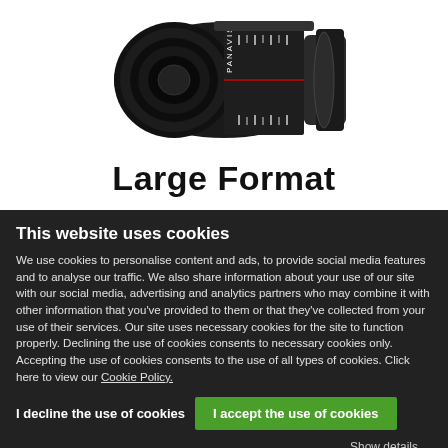[Figure (photo): A black Panavision camera lens on a white background]
Large Format
This website uses cookies
We use cookies to personalise content and ads, to provide social media features and to analyse our traffic. We also share information about your use of our site with our social media, advertising and analytics partners who may combine it with other information that you've provided to them or that they've collected from your use of their services. Our site uses necessary cookies for the site to function properly. Declining the use of cookies consents to necessary cookies only. Accepting the use of cookies consents to the use of all types of cookies. Click here to view our Cookie Policy.
I decline the use of cookies
I accept the use of cookies
Show details